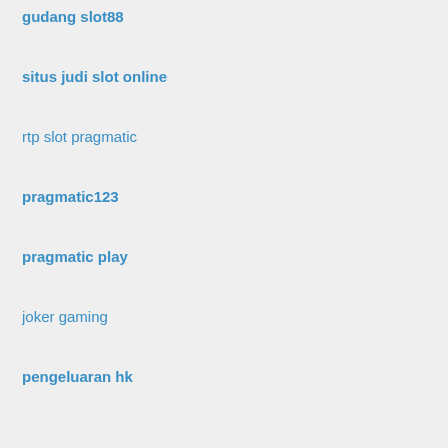gudang slot88
situs judi slot online
rtp slot pragmatic
pragmatic123
pragmatic play
joker gaming
pengeluaran hk